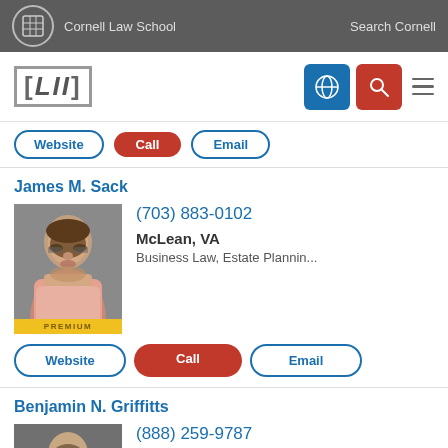Cornell Law School | Search Cornell
[Figure (logo): LII Legal Information Institute logo with Cornell Law School header]
Website | Call | Email (buttons, partially visible at top)
James M. Sack
[Figure (photo): Professional headshot of James M. Sack, middle-aged man with glasses and beard, pink shirt]
(703) 883-0102
McLean, VA
Business Law, Estate Plannin...
Website | Call | Email (buttons)
Benjamin N. Griffitts
[Figure (photo): Professional headshot of Benjamin N. Griffitts, younger man in dark suit]
(888) 259-9787
Fairfax, VA
Personal Injury, Criminal Law...